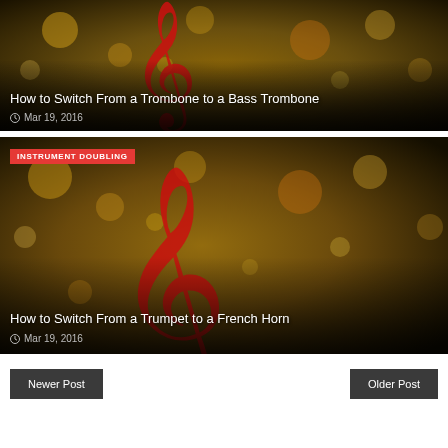[Figure (photo): Music-themed background with red treble clef and bokeh lights, dark background]
How to Switch From a Trombone to a Bass Trombone
Mar 19, 2016
[Figure (photo): Music-themed background with red treble clef and bokeh lights, dark background, with INSTRUMENT DOUBLING tag]
How to Switch From a Trumpet to a French Horn
Mar 19, 2016
Newer Post
Older Post